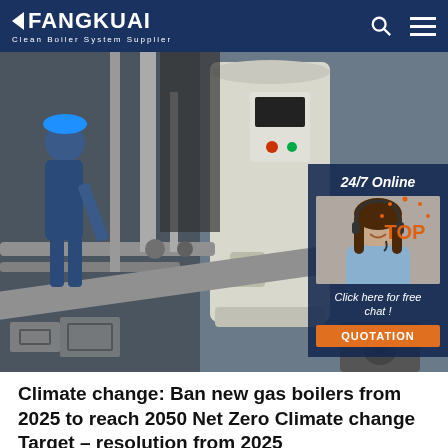FANGKUAI Clean Boiler System Supplier
[Figure (photo): Industrial boiler room with a large vertical white boiler tank, pipes, valves, and a worker in blue coveralls and hardhat operating equipment. Overlay on right side shows a customer service representative with headset and text: 24/7 Online, Click here for free chat!, QUOTATION button.]
Climate change: Ban new gas boilers from 2025 to reach 2050 Net Zero Climate change Target – resolution from 2025